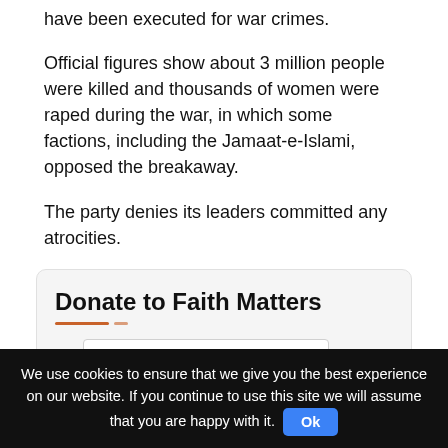have been executed for war crimes.
Official figures show about 3 million people were killed and thousands of women were raped during the war, in which some factions, including the Jamaat-e-Islami, opposed the breakaway.
The party denies its leaders committed any atrocities.
Donate to Faith Matters
[Figure (other): Donate button (PayPal-style) with golden rounded rectangle and italic Donate text, plus an orange circular scroll-to-top arrow button]
We use cookies to ensure that we give you the best experience on our website. If you continue to use this site we will assume that you are happy with it.  Ok